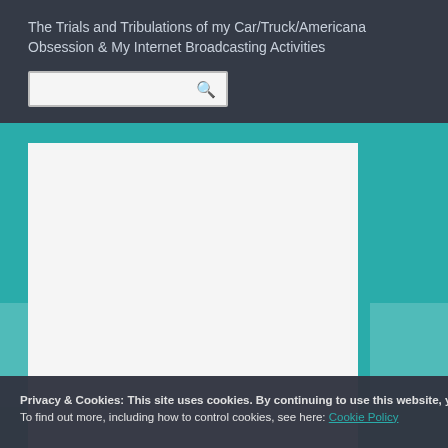The Trials and Tribulations of my Car/Truck/Americana Obsession & My Internet Broadcasting Activities
[Figure (screenshot): Search input box with magnifying glass icon on dark header background]
[Figure (photo): Large white/light gray image placeholder on teal background]
Privacy & Cookies: This site uses cookies. By continuing to use this website, you agree to their use.
To find out more, including how to control cookies, see here: Cookie Policy
Close and accept
Automotive